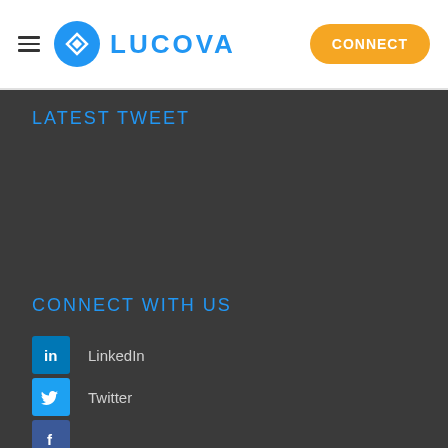[Figure (logo): Lucova logo: hamburger menu icon, blue circle with diamond chevron icon, and LUCOVA text in blue, with orange CONNECT button on right]
LATEST TWEET
CONNECT WITH US
LinkedIn
Twitter
Facebook